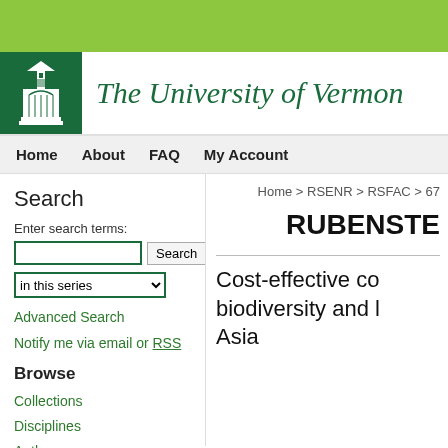[Figure (logo): University of Vermont logo - green box with white church/building tower illustration]
The University of Vermont
Home   About   FAQ   My Account
Search
Enter search terms:
in this series
Advanced Search
Notify me via email or RSS
Browse
Collections
Disciplines
Authors
Home > RSENR > RSFAC > 67
RUBENSTE
Cost-effective co biodiversity and l Asia